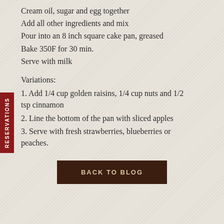Cream oil, sugar and egg together
Add all other ingredients and mix
Pour into an 8 inch square cake pan, greased
Bake 350F for 30 min.
Serve with milk
Variations:
1. Add 1/4 cup golden raisins, 1/4 cup nuts and 1/2 tsp cinnamon
2. Line the bottom of the pan with sliced apples
3. Serve with fresh strawberries, blueberries or peaches.
BACK TO BLOG